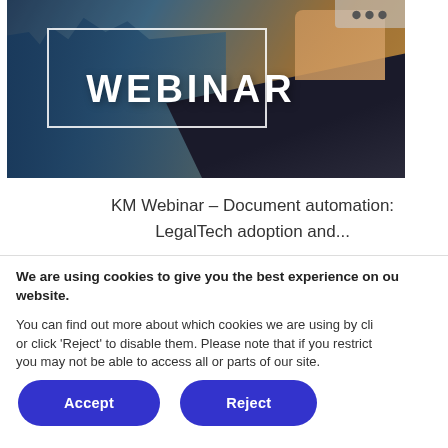[Figure (photo): Webinar banner image showing a city skyline on the left, a person typing on a laptop on the right, with a white rectangle outline in the center containing the bold text WEBINAR. Warm golden light background.]
KM Webinar – Document automation: LegalTech adoption and...
We are using cookies to give you the best experience on our website.
You can find out more about which cookies we are using by clicking or click 'Reject' to disable them. Please note that if you restrict you may not be able to access all or parts of our site.